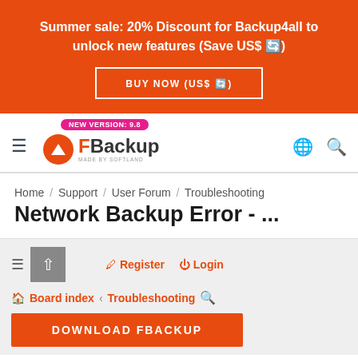[Figure (screenshot): Orange promotional banner with text: Summer sale: 20% Discount for Backup4all to unlock new features (Save US$ sync icon), and a BUY NOW (US$ sync icon) button]
[Figure (logo): FBackup logo made by Softland, with hamburger menu, version badge NEW VERSION: 9.8, globe icon and search icon]
Home / Support / User Forum / Troubleshooting
Network Backup Error - ...
Register  Login  Board index  Troubleshooting  DOWNLOAD FBACKUP
[Figure (screenshot): Forum navigation bar with hamburger, scroll-up button, Register and Login links, Board index and Troubleshooting breadcrumb, search icon, and partial DOWNLOAD FBACKUP orange button]